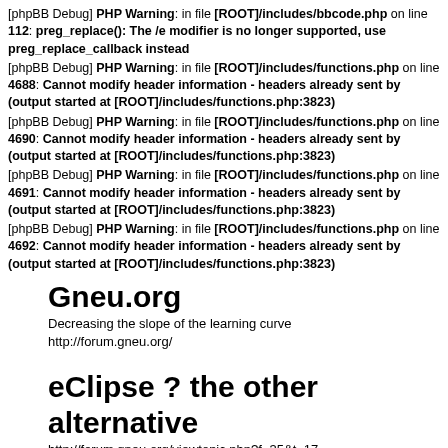[phpBB Debug] PHP Warning: in file [ROOT]/includes/bbcode.php on line 112: preg_replace(): The /e modifier is no longer supported, use preg_replace_callback instead
[phpBB Debug] PHP Warning: in file [ROOT]/includes/functions.php on line 4688: Cannot modify header information - headers already sent by (output started at [ROOT]/includes/functions.php:3823)
[phpBB Debug] PHP Warning: in file [ROOT]/includes/functions.php on line 4690: Cannot modify header information - headers already sent by (output started at [ROOT]/includes/functions.php:3823)
[phpBB Debug] PHP Warning: in file [ROOT]/includes/functions.php on line 4691: Cannot modify header information - headers already sent by (output started at [ROOT]/includes/functions.php:3823)
[phpBB Debug] PHP Warning: in file [ROOT]/includes/functions.php on line 4692: Cannot modify header information - headers already sent by (output started at [ROOT]/includes/functions.php:3823)
Gneu.org
Decreasing the slope of the learning curve
http://forum.gneu.org/
eClipse ? the other alternative
http://forum.gneu.org/viewtopic.php?f=35&t=17